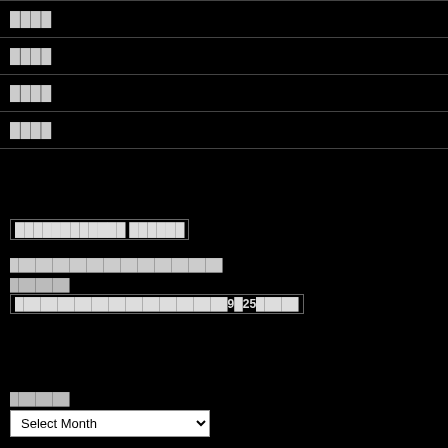████
████
████
████
████████████ ██████
█████████████████████████
███████
█████████████████████████9█25█████
███████
Select Month